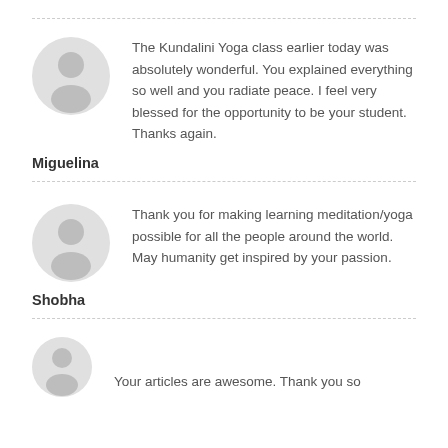The Kundalini Yoga class earlier today was absolutely wonderful. You explained everything so well and you radiate peace. I feel very blessed for the opportunity to be your student. Thanks again.
Miguelina
Thank you for making learning meditation/yoga possible for all the people around the world. May humanity get inspired by your passion.
Shobha
Your articles are awesome. Thank you so